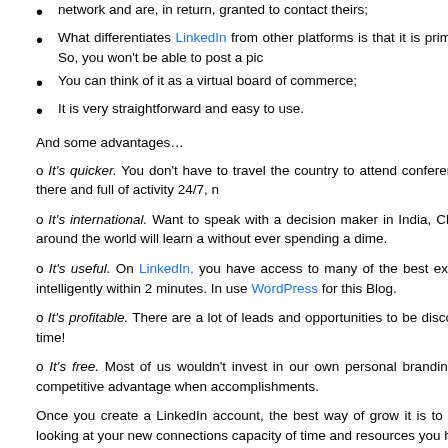network and are, in return, granted to contact theirs;
What differentiates LinkedIn from other platforms is that it is primarily in professionals, recruiters and job seekers… So, you won't be able to post a pic
You can think of it as a virtual board of commerce;
It is very straightforward and easy to use.
And some advantages…
o It's quicker. You don't have to travel the country to attend conferences, meetings to get acquainted with people. It is there and full of activity 24/7, n
o It's international. Want to speak with a decision maker in India, China o just a matter of a few clicks. A lot of people around the world will learn a without ever spending a dime.
o It's useful. On LinkedIn, you have access to many of the best experts o had some of my questions answered very intelligently within 2 minutes. In use WordPress for this Blog.
o It's profitable. There are a lot of leads and opportunities to be discovered business and your connections at the same time!
o It's free. Most of us wouldn't invest in our own personal branding. Becaus its free, this tool could give you a real competitive advantage when accomplishments.
Once you create a LinkedIn account, the best way of grow it is to leverage y should be growing everyday if you are looking at your new connections capacity of time and resources you have to devote to growing it. If you